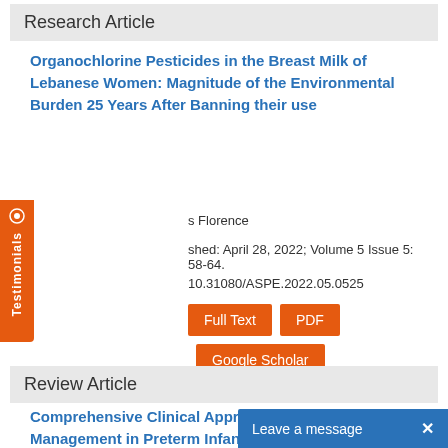Research Article
Organochlorine Pesticides in the Breast Milk of Lebanese Women: Magnitude of the Environmental Burden 25 Years After Banning their use
s Florence
shed: April 28, 2022; Volume 5 Issue 5: 58-64.
10.31080/ASPE.2022.05.0525
Full Text   PDF   Google Scholar
Review Article
Comprehensive Clinical Approach to Nutritional Management in Preterm Infants: Review Article